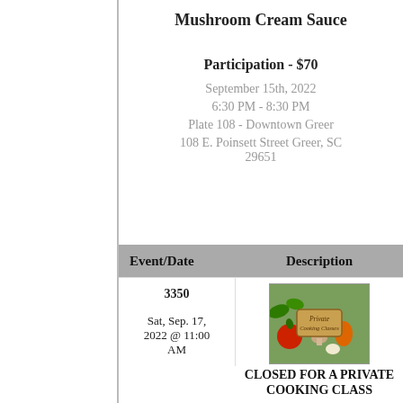Mushroom Cream Sauce
Participation - $70
September 15th, 2022
6:30 PM - 8:30 PM
Plate 108 - Downtown Greer
108 E. Poinsett Street Greer, SC 29651
| Event/Date | Description |
| --- | --- |
| 3350

Sat, Sep. 17, 2022 @ 11:00 AM | [image] CLOSED FOR A PRIVATE COOKING CLASS

CLOSE FOR A PRIVATE COOKING CLASS: Natalie Smith: Pasta Making |
[Figure (photo): Photo of vegetables with a wooden sign reading 'Private Cooking Classes']
CLOSED FOR A PRIVATE COOKING CLASS
CLOSE FOR A PRIVATE COOKING CLASS: Natalie Smith: Pasta Making